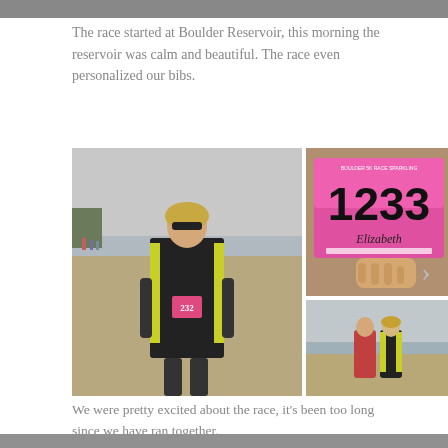[Figure (photo): Top edge of a photo visible at the very top of the page, partial crop]
The race started at Boulder Reservoir, this morning the reservoir was calm and beautiful. The race even personalized our bibs.
[Figure (photo): Photo collage: left large photo of a woman in black jacket and yellow vest with race bib 232 standing on sand beach; top right close-up of pink race bib number 1233 with name Elizabeth; bottom right two people standing on beach with overcast sky]
We were pretty excited about the race, it's been too long since we have ran together.
[Figure (photo): Bottom edge of another photo partially visible at the bottom of the page]